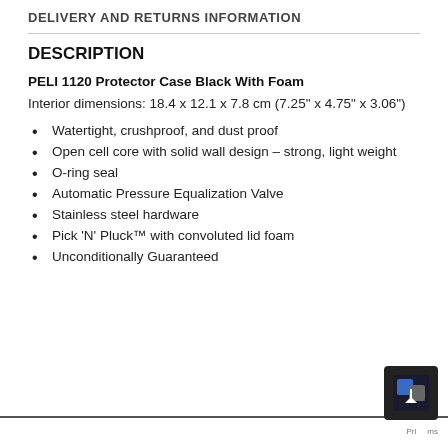DELIVERY AND RETURNS INFORMATION
DESCRIPTION
PELI 1120 Protector Case Black With Foam
Interior dimensions: 18.4 x 12.1 x 7.8 cm (7.25" x 4.75" x 3.06")
Watertight, crushproof, and dust proof
Open cell core with solid wall design – strong, light weight
O-ring seal
Automatic Pressure Equalization Valve
Stainless steel hardware
Pick 'N' Pluck™ with convoluted lid foam
Unconditionally Guaranteed